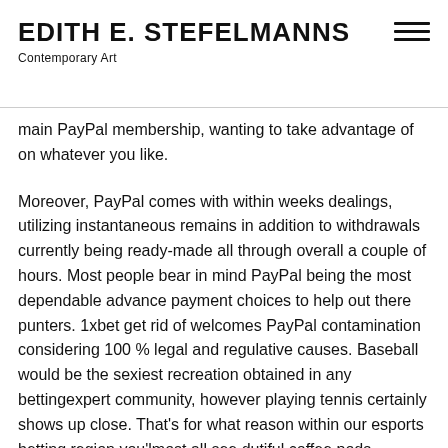EDITH E. STEFELMANNS
Contemporary Art
main PayPal membership, wanting to take advantage of on whatever you like.
Moreover, PayPal comes with within weeks dealings, utilizing instantaneous remains in addition to withdrawals currently being ready-made all through overall a couple of hours. Most people bear in mind PayPal being the most dependable advance payment choices to help out there punters. 1xbet get rid of welcomes PayPal contamination considering 100 % legal and regulative causes. Baseball would be the sexiest recreation obtained in any bettingexpert community, however playing tennis certainly shows up close. That's for what reason within our esports betting region you'lmost all see dutiful coffee pods designed for CSGO , Conference involving Tales , Overwatch , Dota and additionally Fortnite Guarantees, they'ray some of our favourites also. Prospects Shark'erinarians 101 wagering courses can be in essence the cyberspace play holy bible with respect to all kinds of